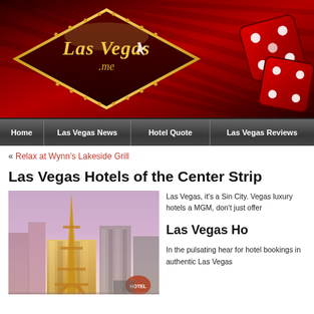[Figure (logo): LasVegas.me website header banner with red background, diagonal stripe pattern, gold diamond logo shape with cursive LasVegas.me text, and red dice on the right]
Home | Las Vegas News | Hotel Quote | Las Vegas Reviews
« Relax at Wynn's Lakeside Grill
Las Vegas Hotels of the Center Strip
[Figure (photo): Photo of Las Vegas Strip showing Paris Las Vegas hotel with Eiffel Tower replica, surrounding hotel buildings, purple/pink dusk sky]
Las Vegas, it's a Sin City. Vegas luxury hotels a MGM, don't just offer
Las Vegas Ho
In the pulsating hear for hotel bookings in authentic Las Vegas